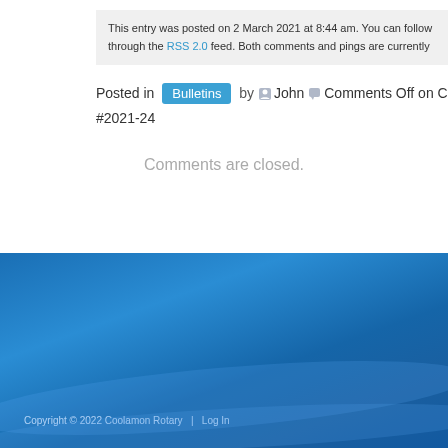This entry was posted on 2 March 2021 at 8:44 am. You can follow through the RSS 2.0 feed. Both comments and pings are currently
Posted in Bulletins by John Comments Off on Co #2021-24
Comments are closed.
Copyright © 2022 Coolamon Rotary | Log In